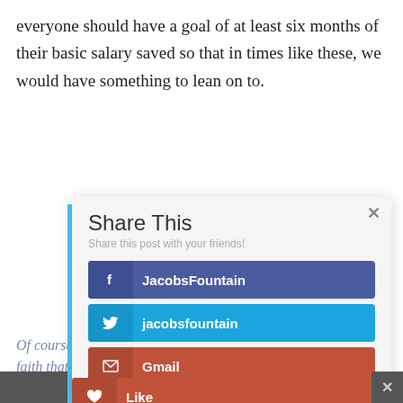everyone should have a goal of at least six months of their basic salary saved so that in times like these, we would have something to lean on to.
[Figure (screenshot): A modal dialog titled 'Share This' with subtitle 'Share this post with your friends!' and five share buttons: Facebook (JacobsFountain), Twitter (jacobsfountain), Gmail, Print Friendly, and Like. A close button (×) appears in the top right corner. The modal overlays article text visible behind it.]